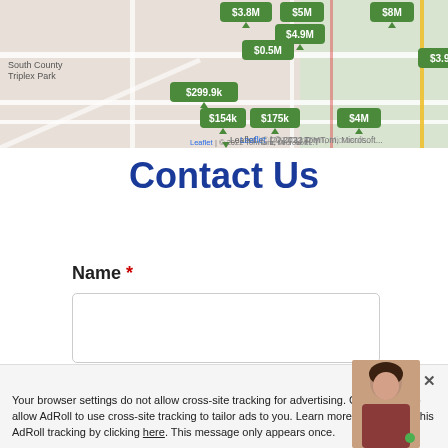[Figure (map): Interactive real estate map showing property price labels ($154k, $175k, $299.9k, $3.8M, $4.9M, $5M, $8M, $4M, $3.9M) on a street map. Shows area labels including 'South County Triplex Park' and 'PER WALK'. Attribution: Leaflet | © 2022 TomTom, Microsoft.]
Contact Us
Name *
Your browser settings do not allow cross-site tracking for advertising. Click on this to allow AdRoll to use cross-site tracking to tailor ads to you. Learn more or opt out of this AdRoll tracking by clicking here. This message only appears once.